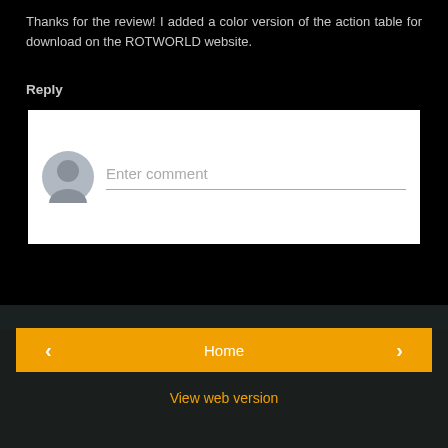Thanks for the review! I added a color version of the action table for download on the ROTWORLD website.
Reply
[Figure (screenshot): Comment input box with gray avatar icon and 'Enter comment' placeholder text]
‹
Home
›
View web version